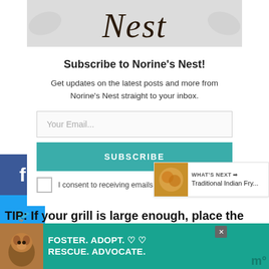[Figure (logo): Norine's Nest cursive logo in dark text on light decorative background]
Subscribe to Norine's Nest!
Get updates on the latest posts and more from Norine's Nest straight to your inbox.
Your Email...
SUBSCRIBE
I consent to receiving emails and personalized ads.
[Figure (infographic): WHAT'S NEXT arrow label with thumbnail of Traditional Indian Fry... bread]
TIP: If your grill is large enough, place the
[Figure (infographic): Foster. Adopt. Rescue. Advocate. advertisement banner with dog photo]